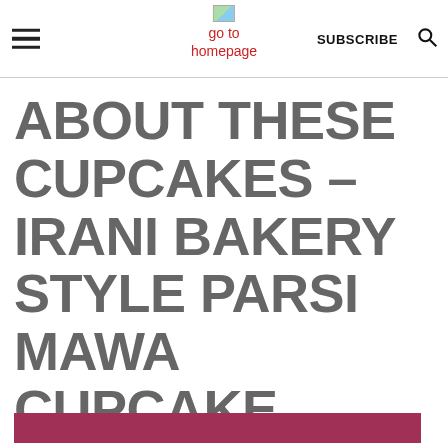go to homepage | SUBSCRIBE
ABOUT THESE CUPCAKES – IRANI BAKERY STYLE PARSI MAWA CUPCAKE